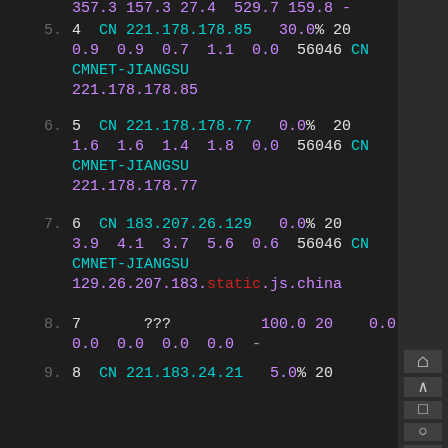357.3 157.3 27.4 529.7 159.8 -
5. 4 CN 221.178.178.85 30.0% 20 0.9 0.9 0.7 1.1 0.0 56046 CN CMNET-JIANGSU 221.178.178.85
6. 5 CN 221.178.178.77 0.0% 20 1.6 1.6 1.4 1.8 0.0 56046 CN CMNET-JIANGSU 221.178.178.77
7. 6 CN 183.207.26.129 0.0% 20 3.9 4.1 3.7 5.6 0.6 56046 CN CMNET-JIANGSU 129.26.207.183.static.js.china
8. 7 ??? 100.0 20 0.0 0.0 0.0 0.0 0.0 -
9. 8 CN 221.183.24.21 5.0% 20 6.0 9.5 5.9 27.4 6.6 9808 CN CMNET-GD 221.183.24.21
10. 9 CN 221.176.22.66 0.0% 20 46.5 15.4 10.7 46.5 10.0 9808 CN CMNET-GD 221.176.22.66
11. 10 CN 221.176.17.38 0.0% 20